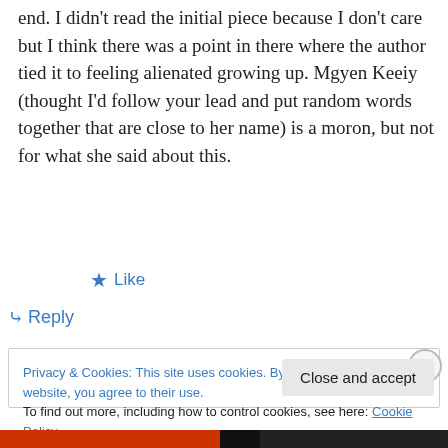end. I didn't read the initial piece because I don't care but I think there was a point in there where the author tied it to feeling alienated growing up. Mgyen Keeiy (thought I'd follow your lead and put random words together that are close to her name) is a moron, but not for what she said about this.
★ Like
↪ Reply
Privacy & Cookies: This site uses cookies. By continuing to use this website, you agree to their use.
To find out more, including how to control cookies, see here: Cookie Policy
Close and accept